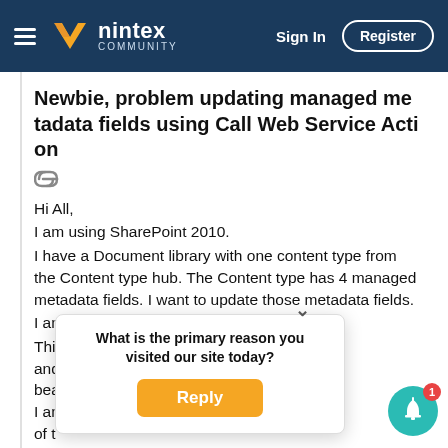Nintex Community — Sign In | Register
Newbie, problem updating managed metadata fields using Call Web Service Action
Hi All,
I am using SharePoint 2010.
I have a Document library with one content type from the Content type hub.  The Content type has 4 managed metadata fields.  I want to update those metadata fields.
I am using the Call Web Service Action.
This is the first time I have used this service and ... bea...
I am ... y one of t...
[Figure (screenshot): Popup dialog asking 'What is the primary reason you visited our site today?' with an orange Reply button, and a teal notification bell icon with badge showing 1]